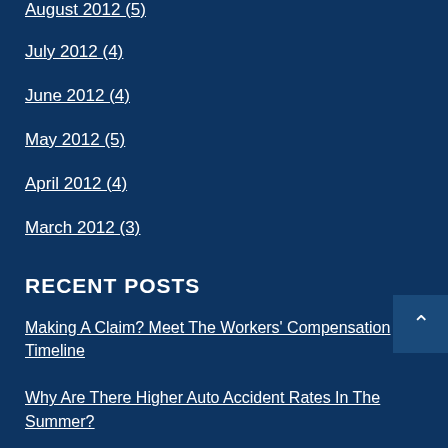August 2012 (5)
July 2012 (4)
June 2012 (4)
May 2012 (5)
April 2012 (4)
March 2012 (3)
RECENT POSTS
Making A Claim? Meet The Workers' Compensation Timeline
Why Are There Higher Auto Accident Rates In The Summer?